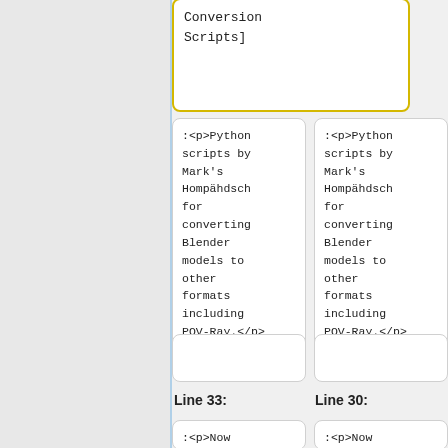Conversion Scripts]
:<p>Python scripts by Mark's Hompähdsch for converting Blender models to other formats including POV-Ray.</p>
:<p>Python scripts by Mark's Hompähdsch for converting Blender models to other formats including POV-Ray.</p>
Line 33:
Line 30:
:<p>Now including povray
:<p>Now including povray